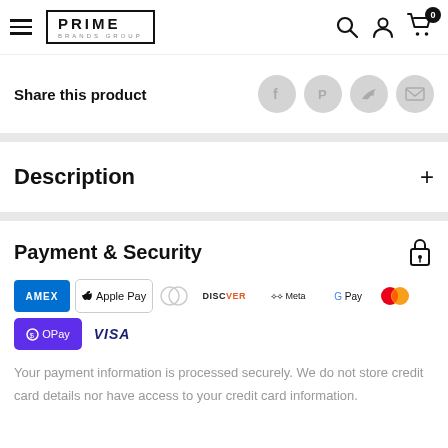[Figure (logo): Prime Brands Group logo in header with hamburger menu, search, user, and cart icons]
Share this product
[Figure (infographic): Social share icons: Facebook, Pinterest, Twitter, Email]
Description
Payment & Security
[Figure (infographic): Payment method icons: Amex, Apple Pay, Diners Club, Discover, Meta Pay, Google Pay, Mastercard, OPay, Visa]
Your payment information is processed securely. We do not store credit card details nor have access to your credit card information.